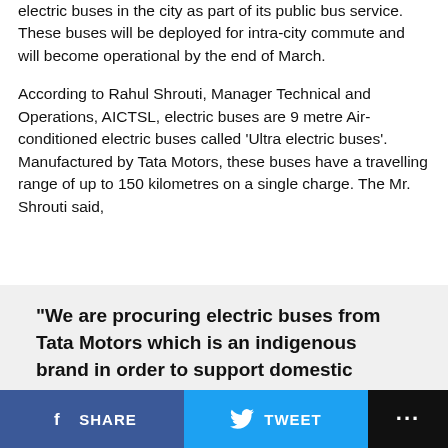electric buses in the city as part of its public bus service. These buses will be deployed for intra-city commute and will become operational by the end of March.
According to Rahul Shrouti, Manager Technical and Operations, AICTSL, electric buses are 9 metre Air-conditioned electric buses called ‘Ultra electric buses’. Manufactured by Tata Motors, these buses have a travelling range of up to 150 kilometres on a single charge. The Mr. Shrouti said,
“We are procuring electric buses from Tata Motors which is an indigenous brand in order to support domestic products instead of the Chinese e-buses available in the market. One bus has
SHARE   TWEET   ...